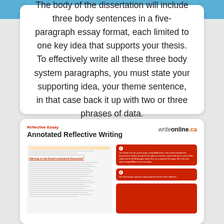The body of the dissertation will include three body sentences in a five-paragraph essay format, each limited to one key idea that supports your thesis. To effectively write all these three body system paragraphs, you must state your supporting idea, your theme sentence, in that case back it up with two or three phrases of data.
[Figure (screenshot): Screenshot of a webpage showing 'Annotated Reflective Writing' from writeonline.ca, with a document preview on the left and red annotation boxes numbered 1 and 2 on the right.]